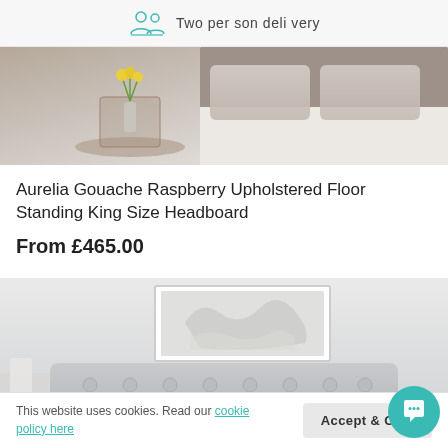Two person delivery
[Figure (photo): Close-up of an upholstered bed headboard in grey/taupe fabric with pillows and a side table with yellow flowers]
Aurelia Gouache Raspberry Upholstered Floor Standing King Size Headboard
From £465.00
[Figure (photo): Light grey tufted upholstered headboard in a white room setting with framed artwork on the wall]
This website uses cookies. Read our cookie policy here
Accept & Close